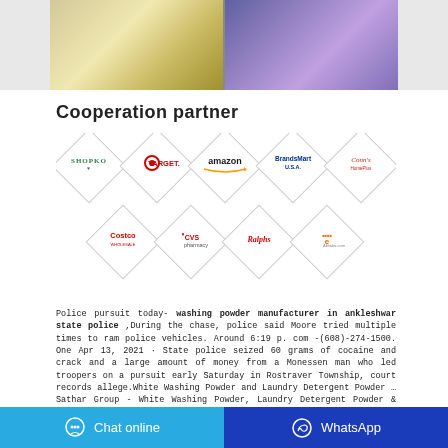[Figure (photo): Two side-by-side photos: left shows laboratory/manufacturing setting with yellow equipment, right shows retail/store setting with purple products]
Cooperation partner
[Figure (infographic): Diamond-shaped logo tiles arranged in two rows showing partner brands: Shopko, Target, Amazon, BrandsMart USA, Conn's HomePlus (top row); Costco, CVS Pharmacy, Ralphs, Alibaba.com (bottom row)]
Police pursuit today- washing powder manufacturer in ankleshwar state police ,During the chase, police said Moore tried multiple times to ram police vehicles. Around 6:19 p. com -(608)-274-1500. One Apr 13, 2021 · State police seized 60 grams of cocaine and crack and a large amount of money from a Monessen man who led troopers on a pursuit early Saturday in Rostraver Township, court records allege.White Washing Powder and Laundry Detergent Powder …Sathar Group - White Washing Powder, Laundry Detergent Powder & Loose Detergent Powder Manufacturer from Ankleshwar, Gujarat, India
Chat online   WhatsApp